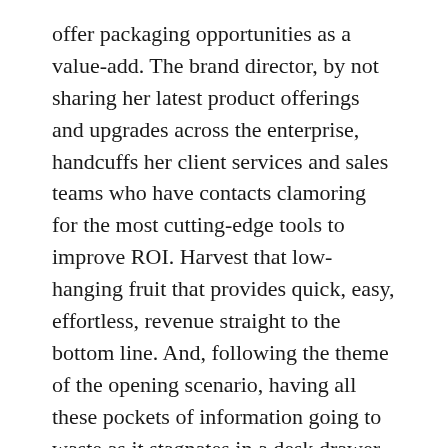offer packaging opportunities as a value-add. The brand director, by not sharing her latest product offerings and upgrades across the enterprise, handcuffs her client services and sales teams who have contacts clamoring for the most cutting-edge tools to improve ROI. Harvest that low-hanging fruit that provides quick, easy, effortless, revenue straight to the bottom line. And, following the theme of the opening scenario, having all these pockets of information going to waste as it stagnates in a desk drawer limits the ability of Analysts, Finance, Marketing, even HR to measure and forecast corporation-wide goals and initiatives.
The data you are sitting on is the single most